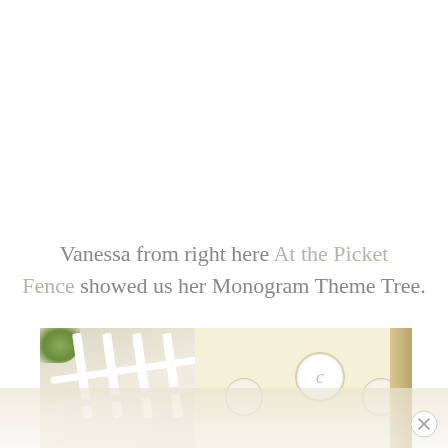Vanessa from right here At the Picket Fence showed us her Monogram Theme Tree.
[Figure (photo): Interior photo showing white decorative fence/railing panels on the left and a cream-colored wall on the right decorated with round monogram plates, with green foliage visible in the upper left corner.]